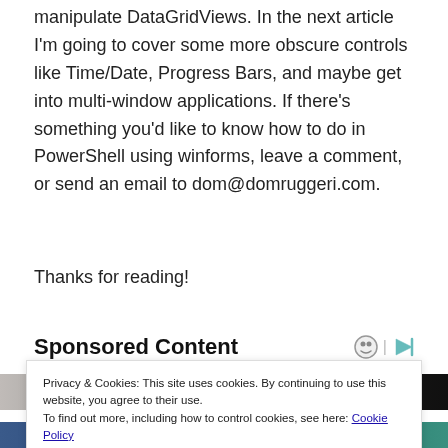manipulate DataGridViews. In the next article I'm going to cover some more obscure controls like Time/Date, Progress Bars, and maybe get into multi-window applications. If there's something you'd like to know how to do in PowerShell using winforms, leave a comment, or send an email to dom@domruggeri.com.
Thanks for reading!
Sponsored Content
[Figure (photo): Partial photo strip visible behind cookie consent overlay]
Privacy & Cookies: This site uses cookies. By continuing to use this website, you agree to their use.
To find out more, including how to control cookies, see here: Cookie Policy
[Figure (photo): Bottom portion of sponsored content photo showing people]